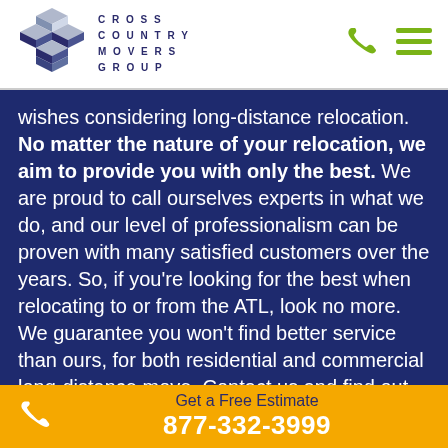[Figure (logo): Cross Country Movers Group logo with geometric cube mark in navy/gray and company name in spaced uppercase letters]
wishes considering long-distance relocation. No matter the nature of your relocation, we aim to provide you with only the best. We are proud to call ourselves experts in what we do, and our level of professionalism can be proven with many satisfied customers over the years. So, if you're looking for the best when relocating to or from the ATL, look no more. We guarantee you won't find better service than ours, for both residential and commercial long-distance move. Contact us and find out for yourself!
Get a Free Estimate
877-332-3999